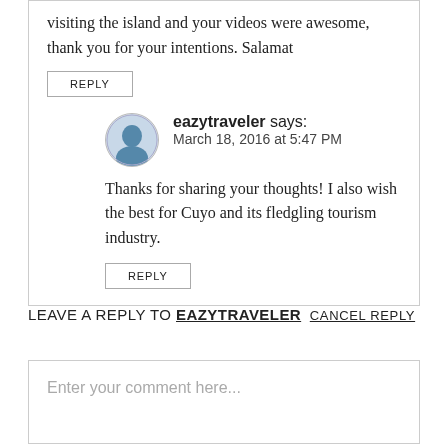visiting the island and your videos were awesome, thank you for your intentions. Salamat
REPLY
eazytraveler says: March 18, 2016 at 5:47 PM
Thanks for sharing your thoughts! I also wish the best for Cuyo and its fledgling tourism industry.
REPLY
LEAVE A REPLY TO EAZYTRAVELER CANCEL REPLY
Enter your comment here...